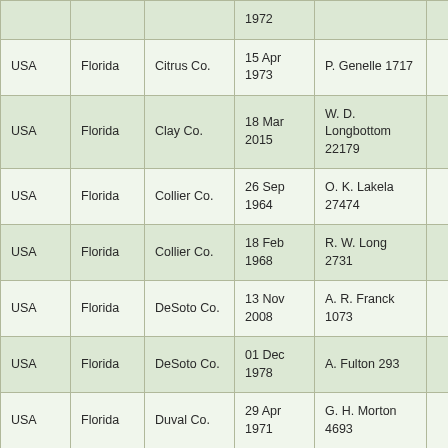| Country | State | County | Date | Reference |  |
| --- | --- | --- | --- | --- | --- |
| USA | Florida | Citrus Co. | 15 Apr 1973 | P. Genelle 1717 |  |
| USA | Florida | Clay Co. | 18 Mar 2015 | W. D. Longbottom 22179 |  |
| USA | Florida | Collier Co. | 26 Sep 1964 | O. K. Lakela 27474 |  |
| USA | Florida | Collier Co. | 18 Feb 1968 | R. W. Long 2731 |  |
| USA | Florida | DeSoto Co. | 13 Nov 2008 | A. R. Franck 1073 |  |
| USA | Florida | DeSoto Co. | 01 Dec 1978 | A. Fulton 293 |  |
| USA | Florida | Duval Co. | 29 Apr 1971 | G. H. Morton 4693 |  |
| USA | Florida | Duval Co. | 18 Apr 2012 | W. D. Longbottom 17018 |  |
| USA | Florida | Gilchrist Co. | 25 Oct 1985 | B. F. Hansen 10779 |  |